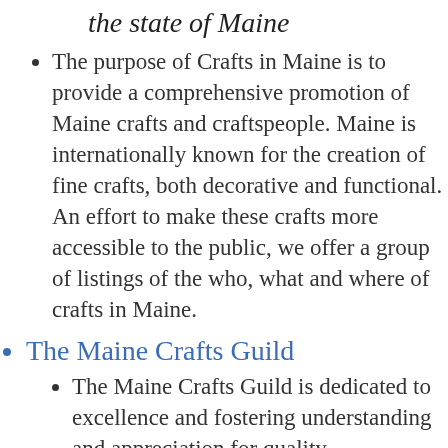the state of Maine
The purpose of Crafts in Maine is to provide a comprehensive promotion of Maine crafts and craftspeople. Maine is internationally known for the creation of fine crafts, both decorative and functional. An effort to make these crafts more accessible to the public, we offer a group of listings of the who, what and where of crafts in Maine.
The Maine Crafts Guild
The Maine Crafts Guild is dedicated to excellence and fostering understanding and appreciation for quality craftsmanship as a way of life to the people of Maine and our many visitors. Our finest Maine artisans, providing high quality products and opportunities for our professional members through our highly regarded craft shows, and our outreach p...
Designing Women
Our mission is to showcase high quality arts and crafts by women artisans and benefit local families.
Maine Fiberarts
Maine Fiberarts is a statewide arts nonprofit...